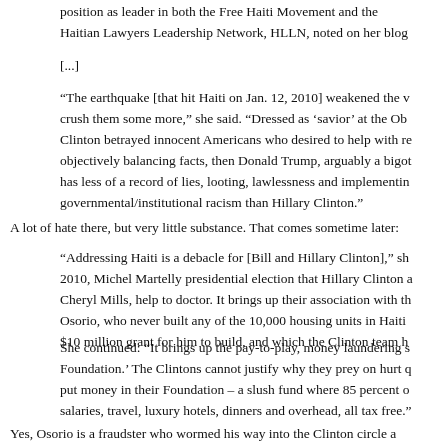position as leader in both the Free Haiti Movement and the Haitian Lawyers Leadership Network, HLLN, noted on her blog
[...]
“The earthquake [that hit Haiti on Jan. 12, 2010] weakened the v crush them some more,” she said. “Dressed as ‘savior’ at the Ob Clinton betrayed innocent Americans who desired to help with re objectively balancing facts, then Donald Trump, arguably a bigot has less of a record of lies, looting, lawlessness and implementin governmental/institutional racism than Hillary Clinton.”
A lot of hate there, but very little substance. That comes sometime later:
“Addressing Haiti is a debacle for [Bill and Hillary Clinton],” she 2010, Michel Martelly presidential election that Hillary Clinton a Cheryl Mills, help to doctor. It brings up their association with th Osorio, who never built any of the 10,000 housing units in Haiti $10 million grant for him to build, and which the Clinton team h
She continued: “It brings up the pay-to-play, money laundering s Foundation.’ The Clintons cannot justify why they prey on hurt q put money in their Foundation – a slush fund where 85 percent o salaries, travel, luxury hotels, dinners and overhead, all tax free.”
Yes, Osorio is a fraudster who wormed his way into the Clinton circle a